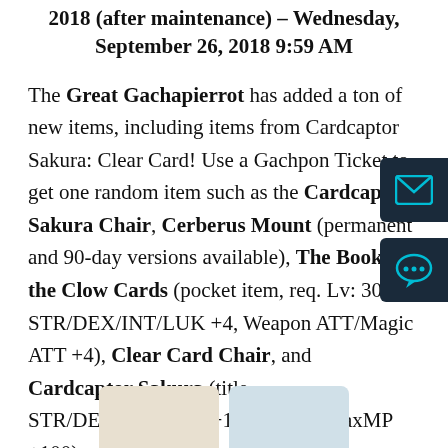2018 (after maintenance) – Wednesday, September 26, 2018 9:59 AM
The Great Gachapierrot has added a ton of new items, including items from Cardcaptor Sakura: Clear Card! Use a Gachpon Ticket to get one random item such as the Cardcaptor Sakura Chair, Cerberus Mount (permanent and 90-day versions available), The Book of the Clow Cards (pocket item, req. Lv: 30, STR/DEX/INT/LUK +4, Weapon ATT/Magic ATT +4), Clear Card Chair, and Cardcaptor Sakura (title, STR/DEX/INT/LUK +11, MaxHP/MaxMP +100).
[Figure (illustration): Two character illustrations at the bottom of the page, partially visible]